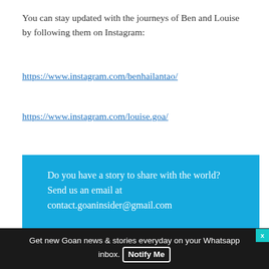You can stay updated with the journeys of Ben and Louise by following them on Instagram:
https://www.instagram.com/benhailantao/
https://www.instagram.com/louise.goa/
Do you have a story to share with the world? Send us an email at contact.goaninsider@gmail.com
Get new Goan news & stories everyday on your Whatsapp inbox. Notify Me